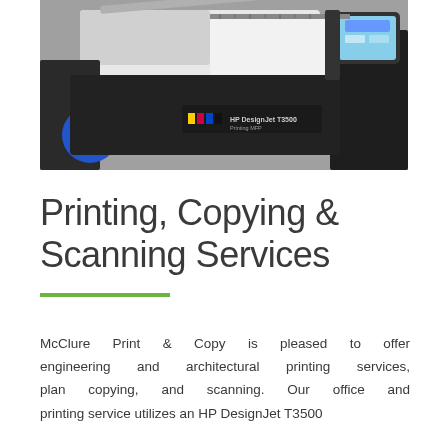[Figure (photo): Close-up photo of an HP DesignJet T3500 large-format printer/scanner showing the control panel touchscreen, scan lid open, and printer branding with color ink indicators.]
Printing, Copying & Scanning Services
McClure Print & Copy is pleased to offer engineering and architectural printing services, plan copying, and scanning. Our office and printing service utilizes an HP DesignJet T3500